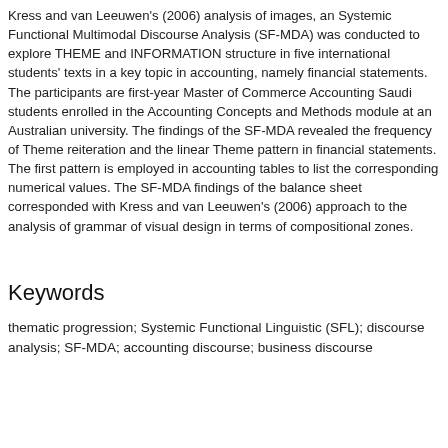Kress and van Leeuwen's (2006) analysis of images, an Systemic Functional Multimodal Discourse Analysis (SF-MDA) was conducted to explore THEME and INFORMATION structure in five international students' texts in a key topic in accounting, namely financial statements. The participants are first-year Master of Commerce Accounting Saudi students enrolled in the Accounting Concepts and Methods module at an Australian university. The findings of the SF-MDA revealed the frequency of Theme reiteration and the linear Theme pattern in financial statements. The first pattern is employed in accounting tables to list the corresponding numerical values. The SF-MDA findings of the balance sheet corresponded with Kress and van Leeuwen's (2006) approach to the analysis of grammar of visual design in terms of compositional zones.
Keywords
thematic progression; Systemic Functional Linguistic (SFL); discourse analysis; SF-MDA; accounting discourse; business discourse